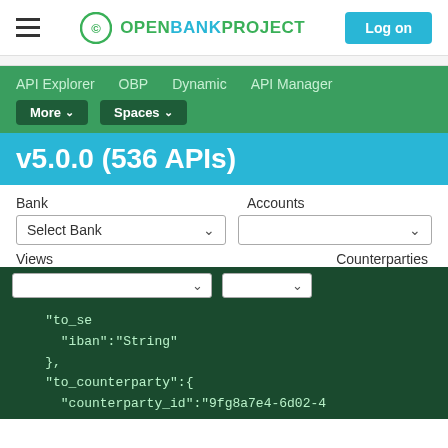Open Bank Project — Log on
API Explorer  OBP  Dynamic  API Manager  More ∨  Spaces ∨
v5.0.0 (536 APIs)
Bank    Accounts
Select Bank ∨     ∨
Views                      Counterparties
[Figure (screenshot): JSON code snippet on dark green background showing: "to_se…" with dropdown, "iban":"String", },  "to_counterparty":{ "counterparty_id":"9fg8a7e4-6d02-4 0e3-a129-0b2bf89de8uh"]